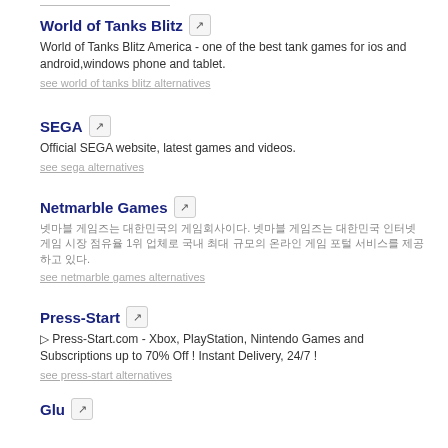World of Tanks Blitz — World of Tanks Blitz America - one of the best tank games for ios and android,windows phone and tablet. see world of tanks blitz alternatives
SEGA — Official SEGA website, latest games and videos. see sega alternatives
Netmarble Games — [Korean text]. see netmarble games alternatives
Press-Start — ▷ Press-Start.com - Xbox, PlayStation, Nintendo Games and Subscriptions up to 70% Off ! Instant Delivery, 24/7 ! see press-start alternatives
Glu — Glu Mobile, Inc is a developer and publisher of mobile games for smartphone and tablet devices. see glu alternatives
Square Enix